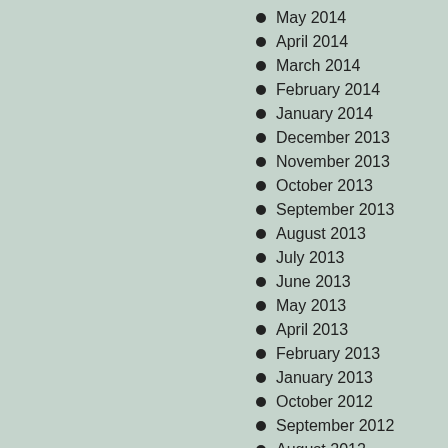May 2014
April 2014
March 2014
February 2014
January 2014
December 2013
November 2013
October 2013
September 2013
August 2013
July 2013
June 2013
May 2013
April 2013
February 2013
January 2013
October 2012
September 2012
August 2012
July 2012
March 2012
January 2012